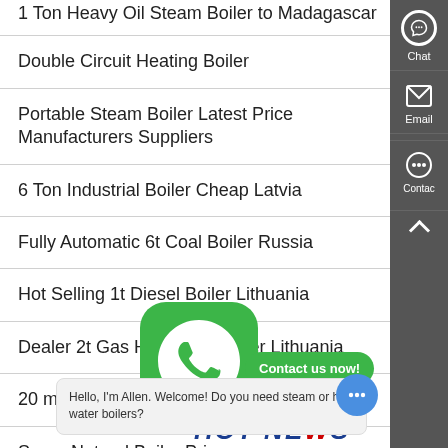1 Ton Heavy Oil Steam Boiler to Madagascar
Double Circuit Heating Boiler
Portable Steam Boiler Latest Price Manufacturers Suppliers
6 Ton Industrial Boiler Cheap Latvia
Fully Automatic 6t Coal Boiler Russia
Hot Selling 1t Diesel Boiler Lithuania
Dealer 2t Gas Hot Water Boiler Lithuania
20 mw electric steam boiler for
Super Natural Boiler Price
[Figure (screenshot): WhatsApp contact button overlay with green WhatsApp icon and 'Contact us now!' button, plus chat bubble saying 'Hello, I'm Allen. Welcome! Do you need steam or hot water boilers?' and HOT NEWS banner at bottom]
Hello, I'm Allen. Welcome! Do you need steam or hot water boilers?